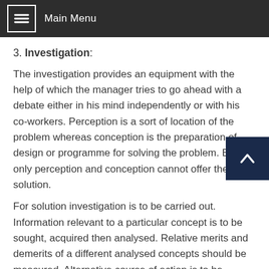Main Menu
3. Investigation:
The investigation provides an equipment with the help of which the manager tries to go ahead with a debate either in his mind independently or with his co-workers. Perception is a sort of location of the problem whereas conception is the preparation of design or programme for solving the problem. But only perception and conception cannot offer the solution.
For solution investigation is to be carried out. Information relevant to a particular concept is to be sought, acquired then analysed. Relative merits and demerits of a different analysed concepts should be measured. Alternative course of action is to be thought, analysed and compared to. This needs investigation with which the manager should be armed.
4. Deliberation:
Weighing the consequences of possible course of action is